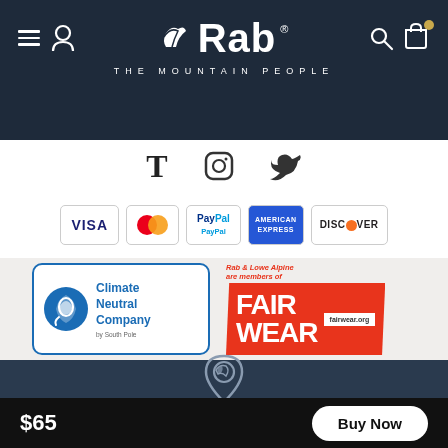[Figure (logo): Rab brand header with logo, tagline THE MOUNTAIN PEOPLE, hamburger menu, user icon, search icon, and cart icon on dark navy background]
[Figure (infographic): Social media icons: Tumblr T, Instagram, Twitter bird]
[Figure (infographic): Payment method logos: VISA, Mastercard, PayPal, American Express, Discover]
[Figure (logo): Climate Neutral Company badge by South Pole with bird/globe icon]
[Figure (logo): Fair Wear badge: Rab & Lowe Alpine are members of FAIR WEAR fairwear.org]
[Figure (logo): Rab logo pin/location marker icon on dark navy background]
$65
Buy Now